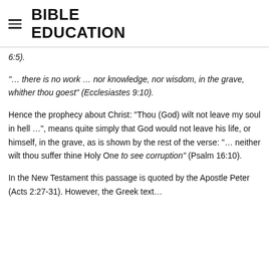BIBLE EDUCATION
6:5).
“… there is no work … nor knowledge, nor wisdom, in the grave, whither thou goest” (Ecclesiastes 9:10).
Hence the prophecy about Christ: “Thou (God) wilt not leave my soul in hell …”, means quite simply that God would not leave his life, or himself, in the grave, as is shown by the rest of the verse: “… neither wilt thou suffer thine Holy One to see corruption” (Psalm 16:10).
In the New Testament this passage is quoted by the Apostle Peter (Acts 2:27-31). However, the Greek text…